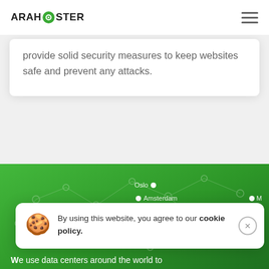ARAHOSTER
provide solid security measures to keep websites safe and prevent any attacks.
[Figure (map): Green background world map section with network node diagram showing city markers: Oslo, Amsterdam, London, Paris, Frankfurt, and partially visible M... city with connecting lines representing CDN network]
CDN OVER THE WORLD
We use data centers around the world to
By using this website, you agree to our cookie policy.